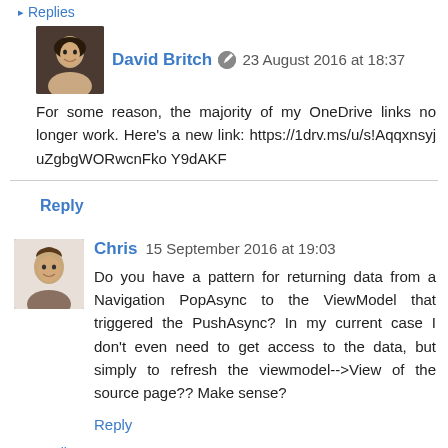▸ Replies
[Figure (photo): Profile photo of David Britch, a man with short dark hair]
David Britch ✎ 23 August 2016 at 18:37
For some reason, the majority of my OneDrive links no longer work. Here's a new link: https://1drv.ms/u/s!AqqxnsyjuZgbgWORwcnFkoY9dAKF
Reply
[Figure (photo): Profile photo of Chris, a man with short hair]
Chris 15 September 2016 at 19:03
Do you have a pattern for returning data from a Navigation PopAsync to the ViewModel that triggered the PushAsync? In my current case I don't even need to get access to the data, but simply to refresh the viewmodel-->View of the source page?? Make sense?
Reply
▾ Replies